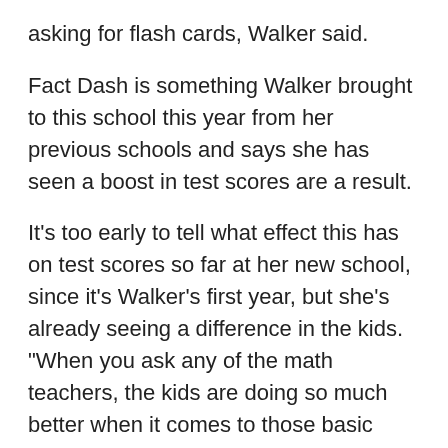asking for flash cards, Walker said.
Fact Dash is something Walker brought to this school this year from her previous schools and says she has seen a boost in test scores are a result.
It's too early to tell what effect this has on test scores so far at her new school, since it's Walker's first year, but she's already seeing a difference in the kids. "When you ask any of the math teachers, the kids are doing so much better when it comes to those basic facts, because they want to win that game," said Walker.
Walker says she can't believe how much attention her video has gotten since it has posted on Friday. "It's been great," she said.